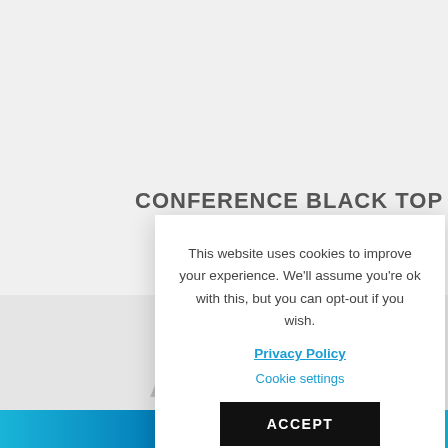CONFERENCE BLACK TOP
[Figure (screenshot): Large letter A partially visible on grey background, top portion]
[Figure (screenshot): Large letter A partially visible on grey background, bottom portion]
This website uses cookies to improve your experience. We'll assume you're ok with this, but you can opt-out if you wish.
Privacy Policy
Cookie settings
ACCEPT